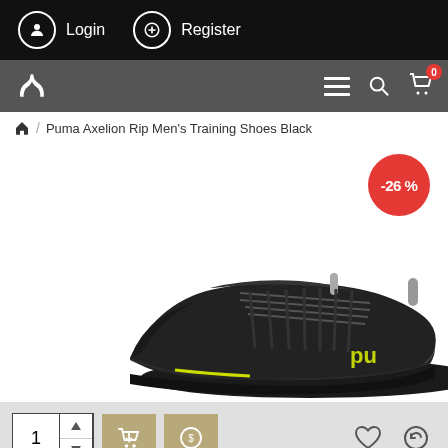Login  Register
[Figure (screenshot): Puma website navigation bar with logo, hamburger menu, search icon, and cart icon with badge showing 0]
Home / Puma Axelion Rip Men's Training Shoes Black
[Figure (photo): Puma Axelion Rip Men's Training Shoes in black with yellow Puma logo, side view, with -26% discount badge in red circle top right]
1 (quantity selector with up/down arrows, add to cart button, buy button, wishlist heart icon, and returns icon)